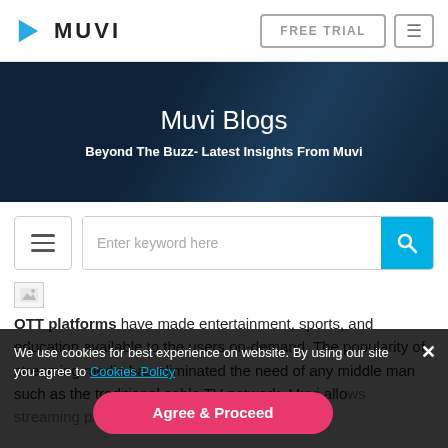MUVI — FREE TRIAL navigation bar with hamburger menu
[Figure (screenshot): Muvi Blogs hero banner with dark background, title 'Muvi Blogs' and subtitle 'Beyond The Buzz- Latest Insights From Muvi']
Muvi Blogs
Beyond The Buzz- Latest Insights From Muvi
[Figure (screenshot): Search bar area with hamburger menu button on left and search field with cyan search button on right]
[Figure (photo): Small broken image icon]
OTT platforms have made entertainment, sports, and education available to the users on-demand. The popularity of streaming media has eliminated the need of any middle man such as the traditional cable TV network. Muvi allows streaming platforms to launch white-
We use cookies for best experience on website. By using our site you agree to Cookies Policy